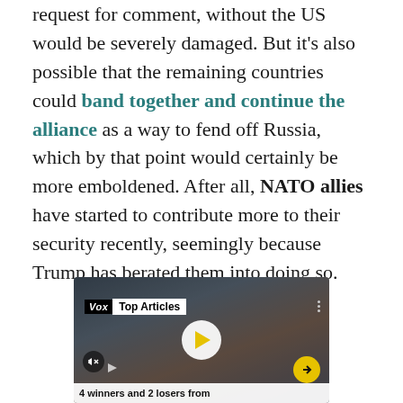request for comment, without the US would be severely damaged. But it's also possible that the remaining countries could band together and continue the alliance as a way to fend off Russia, which by that point would certainly be more emboldened. After all, NATO allies have started to contribute more to their security recently, seemingly because Trump has berated them into doing so.
[Figure (screenshot): Video player screenshot showing a Vox 'Top Articles' overlay on a political video. A white circular play button with yellow triangle is centered. A yellow arrow button is bottom-right. A mute button is bottom-left. A caption bar at the bottom reads '4 winners and 2 losers from'. Background shows an elderly man at what appears to be a political rally with 'FOR GOVERNOR' signage.]